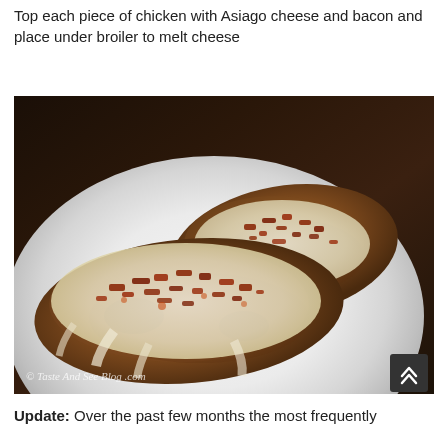Remove from oven and turn oven to broil.

Top each piece of chicken with Asiago cheese and bacon and place under broiler to melt cheese
[Figure (photo): Photo of two breaded chicken breasts topped with melted Asiago cheese and chopped crispy bacon pieces, served on a white plate on a dark wooden surface. Watermark reads '© Taste And See Blog .com']
Update: Over the past few months the most frequently